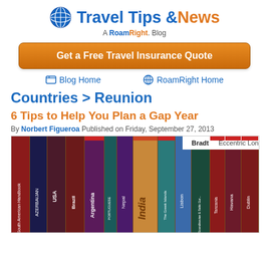Travel Tips & News — A RoamRight Blog
[Figure (infographic): Orange CTA button: Get a Free Travel Insurance Quote]
Blog Home   RoamRight Home
Countries > Reunion
6 Tips to Help You Plan a Gap Year
By Norbert Figueroa Published on Friday, September 27, 2013
[Figure (photo): Shelf of travel guide books including South American Handbook, Azerbaijan, USA, Brazil, Argentina, Portuguese, Nepal, India, Greece Islands, Lisbon, Scandinavian & Baltic Europe, Tanzania, Havana, Dublin. Top shows Bradt Eccentric London label.]